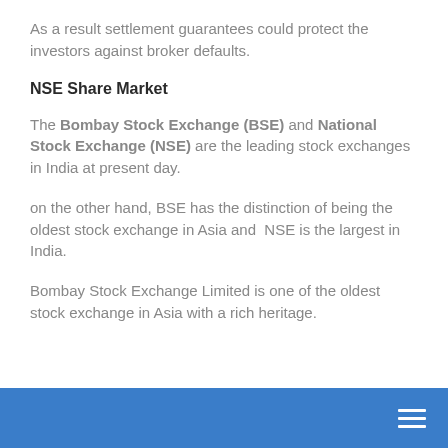As a result settlement guarantees could protect the investors against broker defaults.
NSE Share Market
The Bombay Stock Exchange (BSE) and National Stock Exchange (NSE) are the leading stock exchanges in India at present day.
on the other hand, BSE has the distinction of being the oldest stock exchange in Asia and NSE is the largest in India.
Bombay Stock Exchange Limited is one of the oldest stock exchange in Asia with a rich heritage.